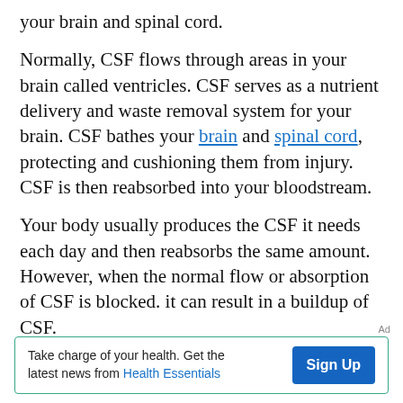your brain and spinal cord.
Normally, CSF flows through areas in your brain called ventricles. CSF serves as a nutrient delivery and waste removal system for your brain. CSF bathes your brain and spinal cord, protecting and cushioning them from injury. CSF is then reabsorbed into your bloodstream.
Your body usually produces the CSF it needs each day and then reabsorbs the same amount. However, when the normal flow or absorption of CSF is blocked, it can result in a buildup of CSF.
Ad
Take charge of your health. Get the latest news from Health Essentials   Sign Up